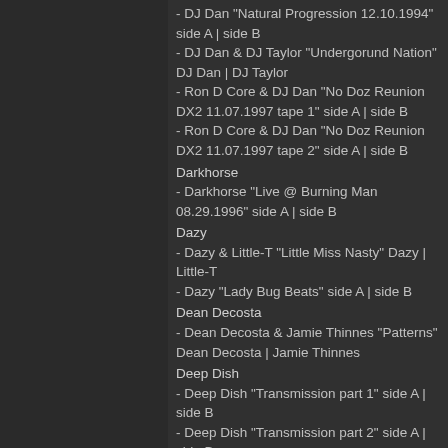- DJ Dan "Natural Progression 12.10.1994" side A | side B
- DJ Dan & DJ Taylor "Undergorund Nation" DJ Dan | DJ Taylor
- Ron D Core & DJ Dan "No Doz Reunion DX2 11.07.1997 tape 1" side A | side B
- Ron D Core & DJ Dan "No Doz Reunion DX2 11.07.1997 tape 2" side A | side B
Darkhorse
- Darkhorse "Live @ Burning Man 08.29.1996" side A | side B
Dazy
- Dazy & Little-T "Little Miss Nasty" Dazy | Little-T
- Dazy "Lady Bug Beats" side A | side B
Dean Decosta
- Dean Decosta & Jamie Thinnes "Patterns" Dean Decosta | Jamie Thinnes
Deep Dish
- Deep Dish "Transmission part 1" side A | side B
- Deep Dish "Transmission part 2" side A | side B
Deep C
- Deep C "Untitled" side A | side B
Derrick Carter
- Derrick Carter "Live @ SOA" side A | side B
- Derrick Carter "Dialog" side A | side B
- Derrick Carter "Illusions part 2" side A | side B
Doc Martin
- Doc Martin "Sublevel part 1" side A | side B
- Doc Martin "Sublevel part 2" side A | side B